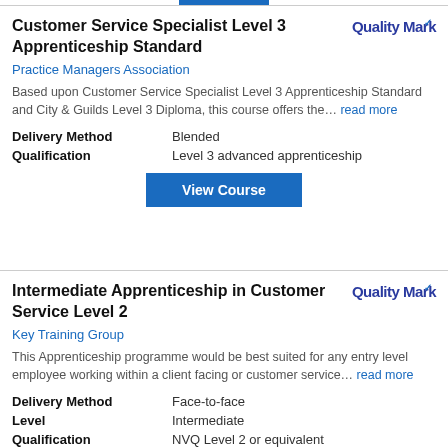Customer Service Specialist Level 3 Apprenticeship Standard
Practice Managers Association
Based upon Customer Service Specialist Level 3 Apprenticeship Standard and City & Guilds Level 3 Diploma, this course offers the… read more
| Field | Value |
| --- | --- |
| Delivery Method | Blended |
| Qualification | Level 3 advanced apprenticeship |
View Course
Intermediate Apprenticeship in Customer Service Level 2
Key Training Group
This Apprenticeship programme would be best suited for any entry level employee working within a client facing or customer service… read more
| Field | Value |
| --- | --- |
| Delivery Method | Face-to-face |
| Level | Intermediate |
| Qualification | NVQ Level 2 or equivalent |
View Course